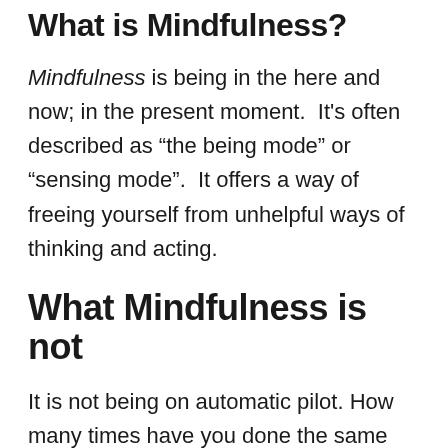What is Mindfulness?
Mindfulness is being in the here and now; in the present moment.  It's often described as “the being mode” or “sensing mode”.  It offers a way of freeing yourself from unhelpful ways of thinking and acting.
What Mindfulness is not
It is not being on automatic pilot. How many times have you done the same thing day after day but never really paid attention to what you are doing? Things like driving the same route to